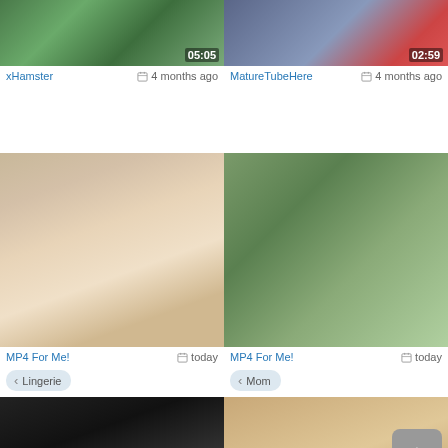[Figure (screenshot): Video thumbnail row 1 left with duration 05:05]
[Figure (screenshot): Video thumbnail row 1 right with duration 02:59]
xHamster   4 months ago
MatureTubeHere   4 months ago
[Figure (screenshot): Video thumbnail row 2 left - woman in lingerie]
[Figure (screenshot): Video thumbnail row 2 right - outdoor stone building scene]
MP4 For Me!   today
MP4 For Me!   today
Lingerie
Mom
[Figure (screenshot): Video thumbnail row 3 left - dark]
[Figure (screenshot): Video thumbnail row 3 right - skin tones]